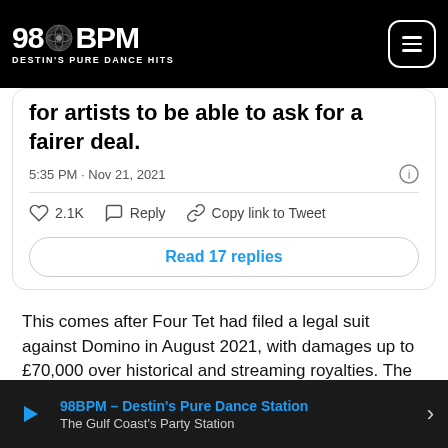98BPM - DESTIN'S PURE DANCE HITS
for artists to be able to ask for a fairer deal.
5:35 PM · Nov 21, 2021
2.1K   Reply   Copy link to Tweet
Read 17 replies
This comes after Four Tet had filed a legal suit against Domino in August 2021, with damages up to £70,000 over historical and streaming royalties. The producer, however, only received just 18% royalty rates which were first applied in the 2000s and has requested for a "fair rate" of 50%.
Four Tet and Domino will appear at the Business and Property Courts of the High Court of Justice on January 18, 2022 where
98BPM – Destin's Pure Dance Station
The Gulf Coast's Party Station